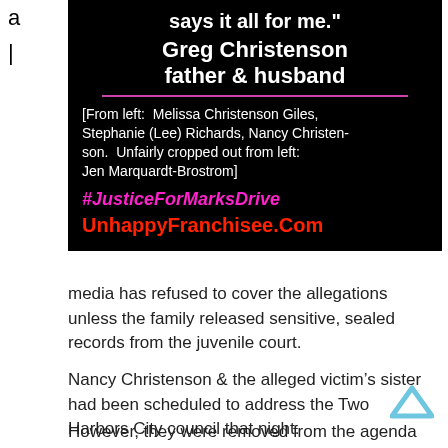a
|
[Figure (infographic): Black box with white bold text quote attribution 'says it all for me.' Greg Christenson father & husband, pink horizontal rule, white caption text '[From left: Melissa Christenson Giles, Stephanie (Lee) Richards, Nancy Christenson. Unfairly cropped out from left: Jen Marquardt-Brostrom]', pink hashtag '#JusticeForMarksDrive', red bold URL 'UnhappyFranchisee.Com']
media has refused to cover the allegations unless the family released sensitive, sealed records from the juvenile court.
Nancy Christenson & the alleged victim’s sister had been scheduled to address the Two Harbors City council that night.
However, they were removed from the agenda under the pretense that whether the Mayor had